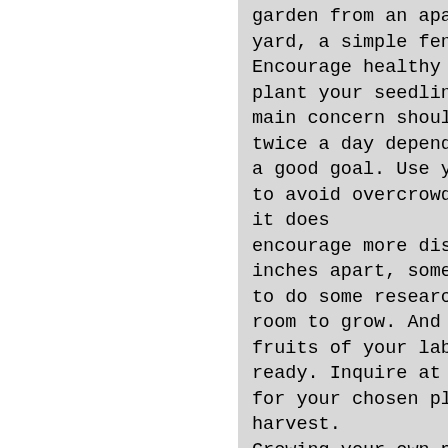garden from an apartment balcony or back de yard, a simple fence should do the trick. Encourage healthy growth. Once you're ready plant your seedlings in the ground (or in co main concern should be watering—in the dog d twice a day depending on how fast the soil d a good goal. Use your judgment—if it's been to avoid overcrowding, too; more plants per it does
encourage more disease. Although vegetables inches apart, some tomato varieties need at to do some research in the planning stage to room to grow. And lastly, don't prematurely fruits of your labor, but they'll be much ta ready. Inquire at the nursery you bought yo for your chosen plants' maturity date—it wi harvest.
Growing your own produce should be relaxing give up even if your yield isn't all you ho to start small—less is more in year one. "By reducing your carbon footprint, spending